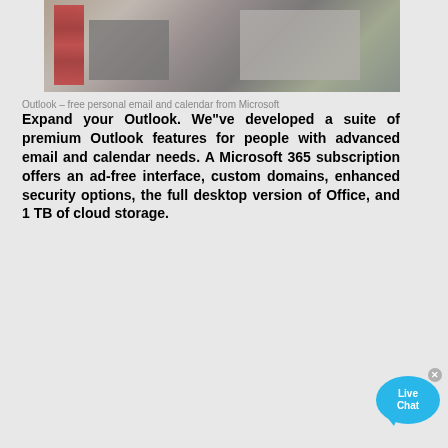[Figure (photo): Aerial view of an industrial facility with red structures on the left and grey concrete buildings on the right]
Outlook – free personal email and calendar from Microsoft
Expand your Outlook. We"ve developed a suite of premium Outlook features for people with advanced email and calendar needs. A Microsoft 365 subscription offers an ad-free interface, custom domains, enhanced security options, the full desktop version of Office, and 1 TB of cloud storage.
[Figure (infographic): Live Chat bubble with X close button]
CLIQUEZ ICI POUR NOUS CONSULTER
[Figure (photo): Industrial facility with yellow structures and blue sky background]